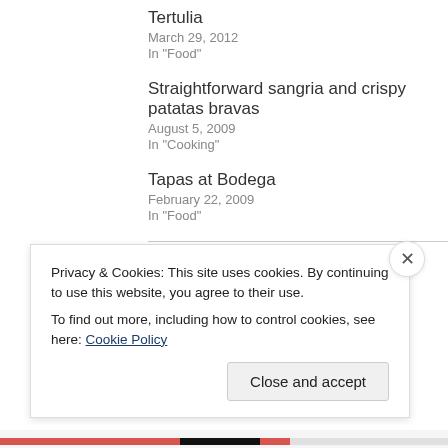Tertulia
March 29, 2012
In "Food"
Straightforward sangria and crispy patatas bravas
August 5, 2009
In "Cooking"
Tapas at Bodega
February 22, 2009
In "Food"
August 3, 2009
Privacy & Cookies: This site uses cookies. By continuing to use this website, you agree to their use.
To find out more, including how to control cookies, see here: Cookie Policy